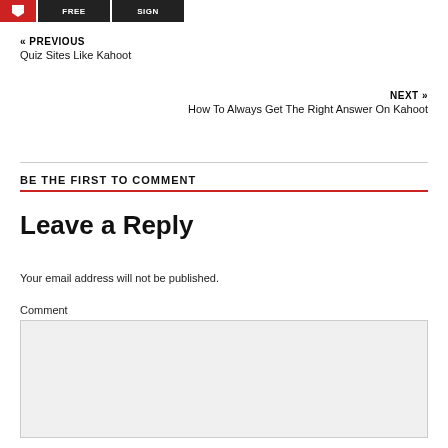[Figure (other): Navigation buttons: red tag icon, FREE button (black), SIGN button (black)]
« PREVIOUS
Quiz Sites Like Kahoot
NEXT »
How To Always Get The Right Answer On Kahoot
BE THE FIRST TO COMMENT
Leave a Reply
Your email address will not be published.
Comment